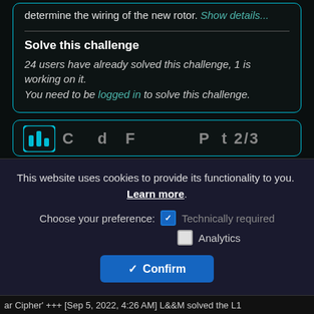determine the wiring of the new rotor. Show details...
Solve this challenge
24 users have already solved this challenge, 1 is working on it.
You need to be logged in to solve this challenge.
[Figure (screenshot): Partial view of a second card with a Mastodon-like icon and truncated heading text]
This website uses cookies to provide its functionality to you. Learn more.
Choose your preference: [checked] Technically required
[unchecked] Analytics
Confirm
ar Cipher' +++ [Sep 5, 2022, 4:26 AM] L&&M solved the L1